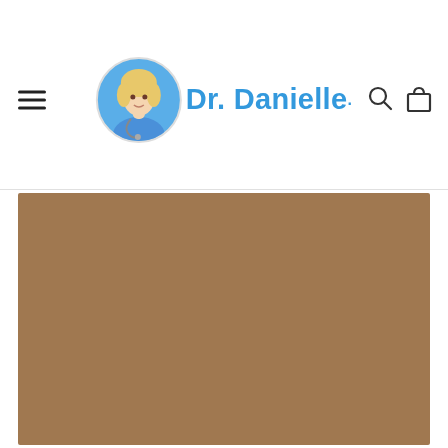[Figure (logo): Dr. Danielle website header logo with circular photo of blonde female doctor in blue scrubs with stethoscope, next to cursive blue text reading 'Dr. Danielle']
[Figure (photo): Large brownish-tan colored image or placeholder block occupying the lower portion of the page]